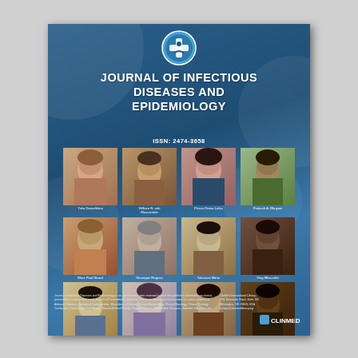[Figure (illustration): Journal cover for Journal of Infectious Diseases and Epidemiology. Dark blue background with decorative circles, a circular medical logo at top, journal title, ISSN number, a 3x4+1 grid of editorial board member photos with names, and footer text with publisher address.]
JOURNAL OF INFECTIOUS DISEASES AND EPIDEMIOLOGY
ISSN: 2474-3658
Journal of Infectious Diseases and Epidemiology is an open access, peer reviewed journal that publishes information on clinical, preventative, curative and social aspects of Transmittable diseases. It focus on discovery and innovation in various aspects of Airborne Diseases, Biological Contamination, Blood-borne Disease, Clinical Bacteriology, Clinical Mycology, Clinical Virology, Conifection, Copenhagen Conditions, Threshold Host Density, Tropical Disease, Waterborne Diseases, Zoonotic Infections, etc.
ClinMed International Library, 35/1 Downside Road, Suite 105 Wilmington, DE 19810, USA contact@clinmedlibrary.org